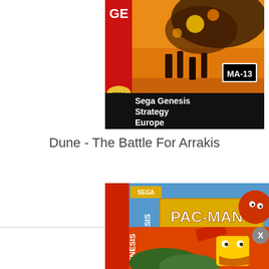[Figure (photo): Sega Genesis game box art for 'Dune - The Battle For Arrakis'. Top portion shows fiery battle scene with soldiers. Bottom black bar reads 'Sega Genesis Strategy Europe'. MA-13 rating badge visible. SEGA logo on left spine.]
Dune - The Battle For Arrakis
[Figure (photo): Sega Genesis game box art for 'Pac-Man 2: The New Adventures'. Top half shows colorful cartoon art with SEGA logo, PAC-MAN 2 title logo in gold, and 'THE NEW ADVENTURES' text. Red spine reads 'GENESIS'.]
[Figure (photo): Bottom half of Pac-Man 2 box art showing cartoon Pac-Man character (yellow square shape with eyes and open mouth) on a red/orange background with trees. Red spine reads 'GENESIS'.]